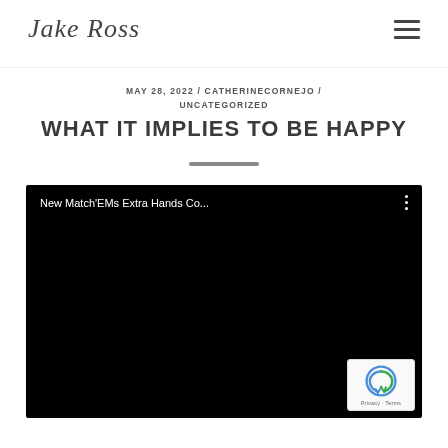Jake Ross
MAY 28, 2022 / CATHERINECORNEJO / UNCATEGORIZED
WHAT IT IMPLIES TO BE HAPPY
[Figure (screenshot): Embedded video player with black background showing title 'New Match'EMs Extra Hands Co...' with a three-dot menu icon in the top right corner. A reCAPTCHA badge is visible in the bottom right corner.]